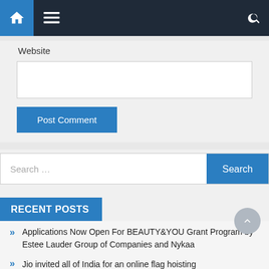Navigation bar with home, menu, and search icons
Website
Post Comment
Search ...
RECENT POSTS
Applications Now Open For BEAUTY&YOU Grant Program by Estee Lauder Group of Companies and Nykaa
Jio invited all of India for an online flag hoisting